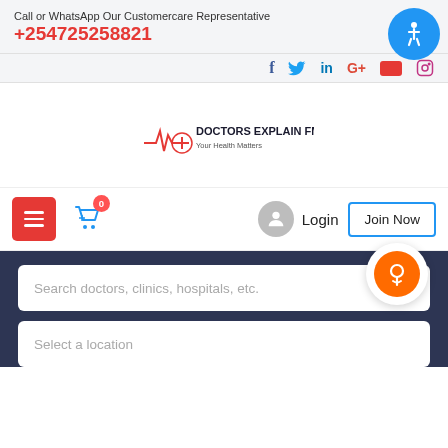Call or WhatsApp Our Customercare Representative
+254725258821
[Figure (infographic): Social media icons: Facebook (f), Twitter (bird), LinkedIn (in), Google+ (G+), YouTube (red rectangle), Instagram (camera)]
[Figure (logo): Doctors Explain FM logo with tagline 'Your Health Matters']
[Figure (infographic): Navigation bar with hamburger menu (red), shopping cart icon with badge '0', login avatar and text, and Join Now button]
Login
Join Now
Search doctors, clinics, hospitals, etc.
Select a location